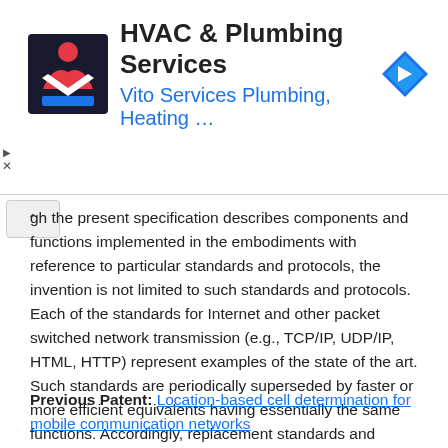[Figure (advertisement): HVAC & Plumbing Services ad banner with logo on left, title 'HVAC & Plumbing Services', subtitle 'Vito Services Plumbing, Heating …', and a blue navigation diamond icon on the right]
gh the present specification describes components and functions implemented in the embodiments with reference to particular standards and protocols, the invention is not limited to such standards and protocols. Each of the standards for Internet and other packet switched network transmission (e.g., TCP/IP, UDP/IP, HTML, HTTP) represent examples of the state of the art. Such standards are periodically superseded by faster or more efficient equivalents having essentially the same functions. Accordingly, replacement standards and protocols having the same functions are considered equivalents.
Previous Patent: Location-based cell determination for mobile communication networks